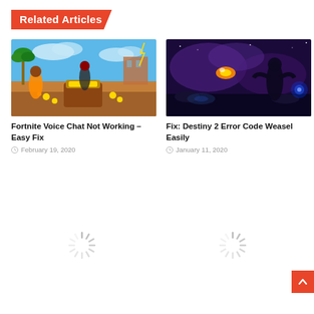Related Articles
[Figure (photo): Fortnite battle royale game screenshot with colorful characters around a treasure chest]
Fortnite Voice Chat Not Working – Easy Fix
February 19, 2020
[Figure (photo): Destiny 2 dark sci-fi screenshot with glowing enemies and alien landscape]
Fix: Destiny 2 Error Code Weasel Easily
January 11, 2020